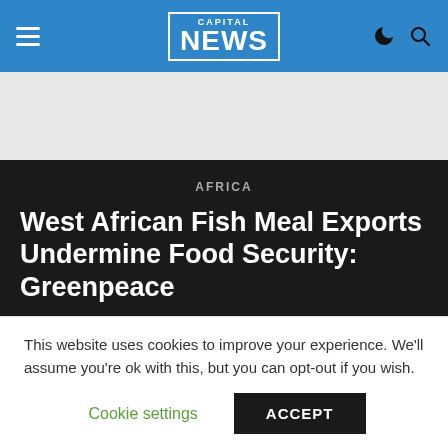Capital NEWS
[Figure (screenshot): Gray advertisement placeholder area]
AFRICA
West African Fish Meal Exports Undermine Food Security: Greenpeace
By AGENCE FRANCE PRESSE
Published June 1, 2021
This website uses cookies to improve your experience. We'll assume you're ok with this, but you can opt-out if you wish.
Cookie settings   ACCEPT